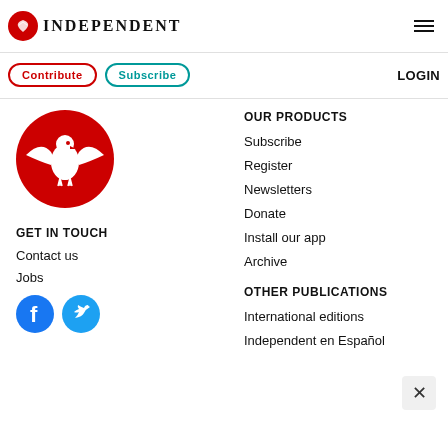INDEPENDENT
Contribute
Subscribe
LOGIN
[Figure (logo): The Independent logo - red circle with white eagle]
GET IN TOUCH
Contact us
Jobs
[Figure (illustration): Facebook and Twitter social media icons]
OUR PRODUCTS
Subscribe
Register
Newsletters
Donate
Install our app
Archive
OTHER PUBLICATIONS
International editions
Independent en Español